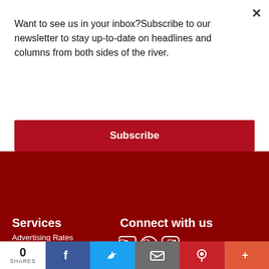Want to see us in your inbox?Subscribe to our newsletter to stay up-to-date on headlines and columns from both sides of the river.
Subscribe
Services
Advertising Rates
Contact Us
TRR newsletter
Subscribe
Online Bill Pay
Connect with us
[Figure (infographic): Social media icons: Facebook, Twitter, Instagram]
0 SHARES
[Figure (infographic): Share bar with Facebook, Twitter, Email, Pinterest, and More buttons]